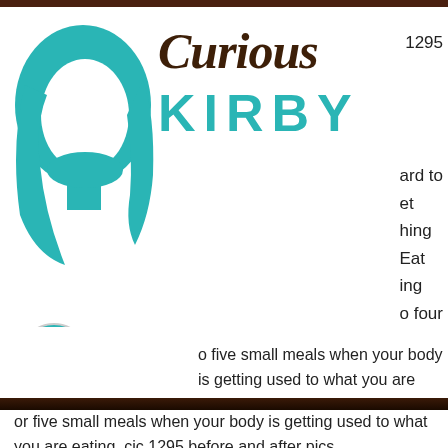[Figure (logo): Curious Kirby logo with teal female head silhouette and stylized text]
1295
ard to
et
hing
Eat
ing
o four
or five small meals when your body is getting used to what you are eating, cjc 1295 before and after pics.
If food gets under your skin, it should not be a problem. If you are eating large amounts of food each day, that will make your food hard on your skin. Do not over-exert yourself, cjc 1295 without dac benefits. You will burn more calories if you don't, cjc 1295 dac results. Eating a meal every three hours will be more effective at losing fat than eating at